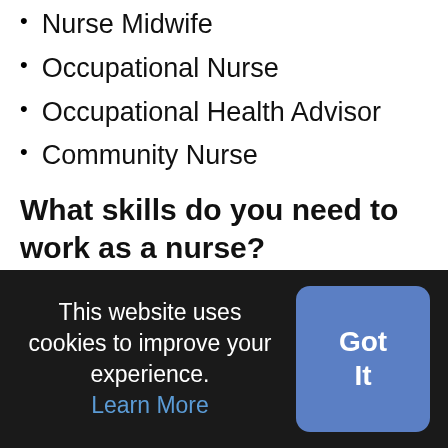Nurse Midwife
Occupational Nurse
Occupational Health Advisor
Community Nurse
What skills do you need to work as a nurse?
Commitment to providing high quality care
People focused with good  interpersonal skills
This website uses cookies to improve your experience. Learn More